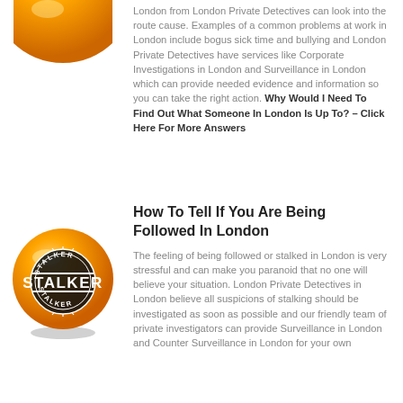[Figure (illustration): Partial orange ball/sphere visible at top of image]
London from London Private Detectives can look into the route cause. Examples of a common problems at work in London include bogus sick time and bullying and London Private Detectives have services like Corporate Investigations in London and Surveillance in London which can provide needed evidence and information so you can take the right action. Why Would I Need To Find Out What Someone In London Is Up To? – Click Here For More Answers
[Figure (illustration): Orange sphere with black and white STALKER stamp/badge overlay text reading STALKER STALKER STALKER]
How To Tell If You Are Being Followed In London
The feeling of being followed or stalked in London is very stressful and can make you paranoid that no one will believe your situation. London Private Detectives in London believe all suspicions of stalking should be investigated as soon as possible and our friendly team of private investigators can provide Surveillance in London and Counter Surveillance in London for your own